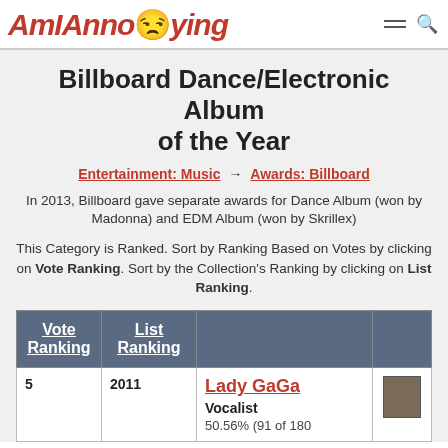AmIAnnoying
Billboard Dance/Electronic Album of the Year
Entertainment: Music → Awards: Billboard
In 2013, Billboard gave separate awards for Dance Album (won by Madonna) and EDM Album (won by Skrillex)
This Category is Ranked. Sort by Ranking Based on Votes by clicking on Vote Ranking. Sort by the Collection's Ranking by clicking on List Ranking.
| Vote Ranking | List Ranking |  |  |
| --- | --- | --- | --- |
| 5 | 2011 | Lady GaGa
Vocalist
50.56% (91 of 180 | (image) |